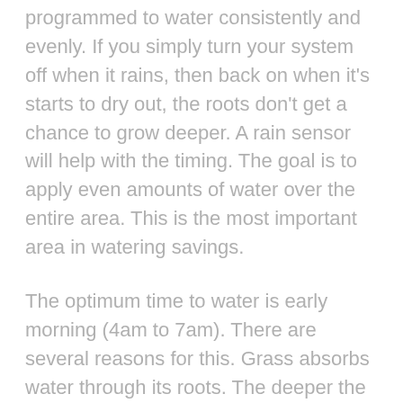programmed to water consistently and evenly. If you simply turn your system off when it rains, then back on when it's starts to dry out, the roots don't get a chance to grow deeper. A rain sensor will help with the timing. The goal is to apply even amounts of water over the entire area. This is the most important area in watering savings.
The optimum time to water is early morning (4am to 7am). There are several reasons for this. Grass absorbs water through its roots. The deeper the roots are, the better. Because grass uses water through the roots, it's important that the water is at root level when photosynthesis occurs. Watering in the early morning allows time for the water to perk